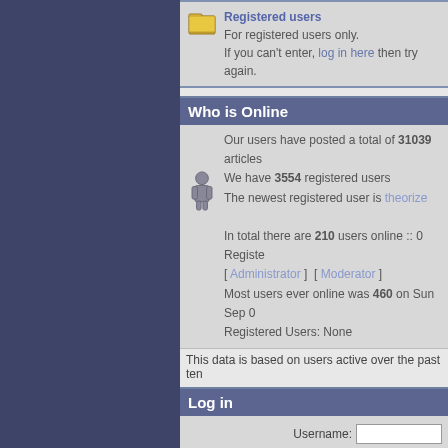Registered users
For registered users only. If you can't enter, log in here then try again.
Who is Online
Our users have posted a total of 31039 articles We have 3554 registered users The newest registered user is theorize
In total there are 210 users online :: 0 Registered [ Administrator ] [ Moderator ] Most users ever online was 460 on Sun Sep 0 Registered Users: None
This data is based on users active over the past ten
Log in
Username: Log me
New po
Powered
Copyright © 1998-2005 Yannick Delwiche
All rights reserved